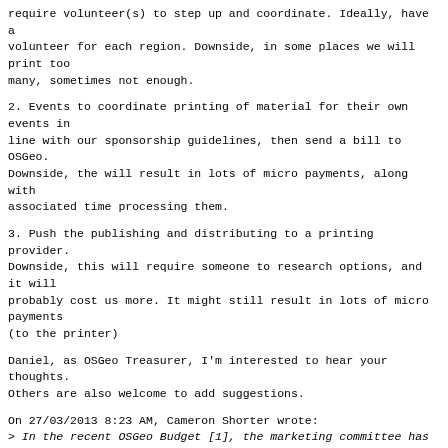require volunteer(s) to step up and coordinate. Ideally, have a
volunteer for each region. Downside, in some places we will print too
many, sometimes not enough.
2. Events to coordinate printing of material for their own events in
line with our sponsorship guidelines, then send a bill to OSGeo.
Downside, the will result in lots of micro payments, along with
associated time processing them.
3. Push the publishing and distributing to a printing provider.
Downside, this will require someone to research options, and it will
probably cost us more. It might still result in lots of micro payments
(to the printer)
Daniel, as OSGeo Treasurer, I'm interested to hear your thoughts.
Others are also welcome to add suggestions.
On 27/03/2013 8:23 AM, Cameron Shorter wrote:
> In the recent OSGeo Budget [1], the marketing committee has been
> allocated $10K, (up from $5K in 2012).
> Specifically for: "General events support (starter
> In the recent OSGeo Budget [1], the marketing committee has been
> allocated $10K, (up from $5K in 2012).
> Specifically for: "General events support (starter